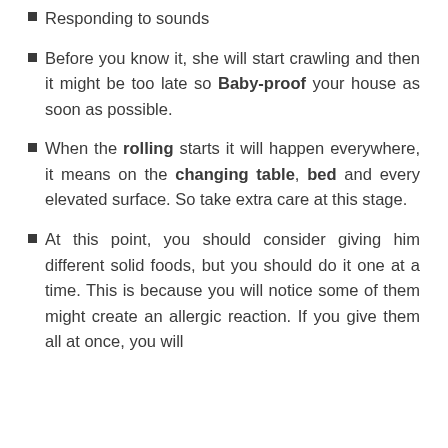Responding to sounds
Before you know it, she will start crawling and then it might be too late so Baby-proof your house as soon as possible.
When the rolling starts it will happen everywhere, it means on the changing table, bed and every elevated surface. So take extra care at this stage.
At this point, you should consider giving him different solid foods, but you should do it one at a time. This is because you will notice some of them might create an allergic reaction. If you give them all at once, you will